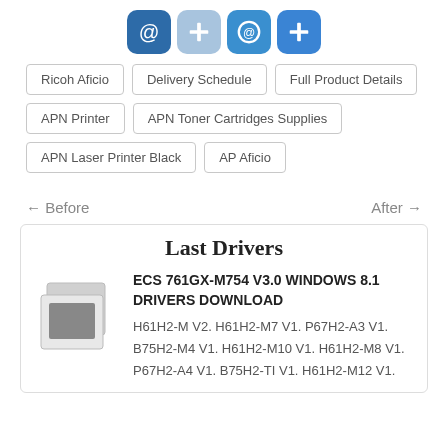[Figure (infographic): Four icon buttons: dark blue @ symbol, light blue + symbol, medium blue circled @ symbol, bright blue + symbol]
Ricoh Aficio
Delivery Schedule
Full Product Details
APN Printer
APN Toner Cartridges Supplies
APN Laser Printer Black
AP Aficio
← Before    After →
Last Drivers
[Figure (photo): Placeholder image thumbnail showing stacked photo icon in grayscale]
ECS 761GX-M754 V3.0 WINDOWS 8.1 DRIVERS DOWNLOAD
H61H2-M V2. H61H2-M7 V1. P67H2-A3 V1. B75H2-M4 V1. H61H2-M10 V1. H61H2-M8 V1. P67H2-A4 V1. B75H2-TI V1. H61H2-M12 V1.